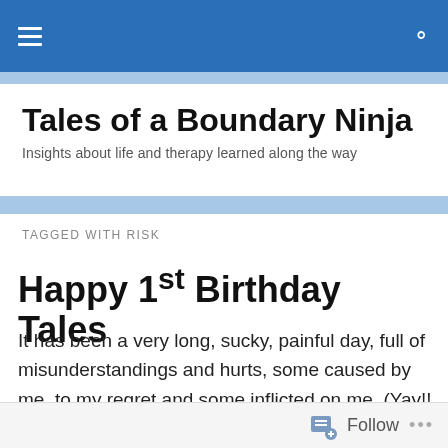Tales of a Boundary Ninja — navigation bar
Tales of a Boundary Ninja
Insights about life and therapy learned along the way
TAGGED WITH RISK
Happy 1st Birthday Tales
It has been a very long, sucky, painful day, full of misunderstandings and hurts, some caused by me, to my regret and some inflicted on me. (Yay!! While I was working on this, someone did an amazing thing and was
Follow ...